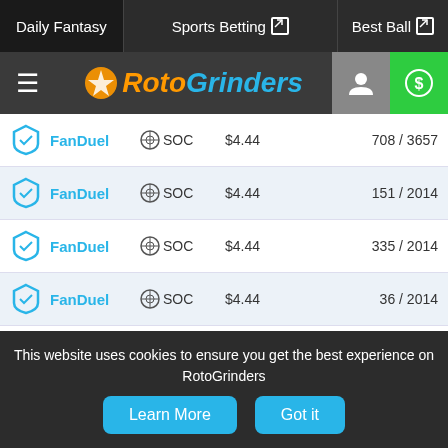Daily Fantasy | Sports Betting | Best Ball — RotoGrinders navigation bar
[Figure (logo): RotoGrinders logo with hamburger menu, user icon, and dollar sign icon]
| Site | Sport | Entry Fee | Entries |
| --- | --- | --- | --- |
| FanDuel | SOC | $4.44 | 708 / 3657 |
| FanDuel | SOC | $4.44 | 151 / 2014 |
| FanDuel | SOC | $4.44 | 335 / 2014 |
| FanDuel | SOC | $4.44 | 36 / 2014 |
| FanDuel | SOC | $4.44 | 176 / 2014 |
| FanDuel | SOC | $4.44 | 494 / 2014 |
| FanDuel | SOC | $4.44 | 552 / 3116 |
| FanDuel | SOC | $4.44 | 657 / 3116 |
This website uses cookies to ensure you get the best experience on RotoGrinders
Learn More | Got it